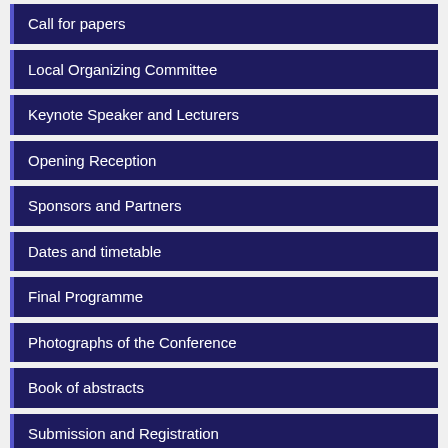Call for papers
Local Organizing Committee
Keynote Speaker and Lecturers
Opening Reception
Sponsors and Partners
Dates and timetable
Final Programme
Photographs of the Conference
Book of abstracts
Submission and Registration